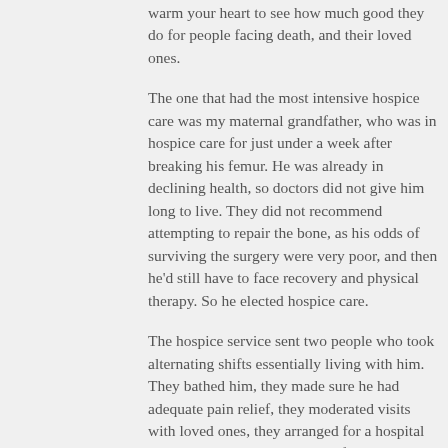know what else they do, and I really think it would warm your heart to see how much good they do for people facing death, and their loved ones.
The one that had the most intensive hospice care was my maternal grandfather, who was in hospice care for just under a week after breaking his femur. He was already in declining health, so doctors did not give him long to live. They did not recommend attempting to repair the bone, as his odds of surviving the surgery were very poor, and then he'd still have to face recovery and physical therapy. So he elected hospice care.
The hospice service sent two people who took alternating shifts essentially living with him. They bathed him, they made sure he had adequate pain relief, they moderated visits with loved ones, they arranged for a hospital bed and helped him take care of his bodily functions while confined to the bed, they cooked for him and helped him eat and drink, and perhaps most importantly of all, they *talked* to him, they held his hand, and they made sure he would never